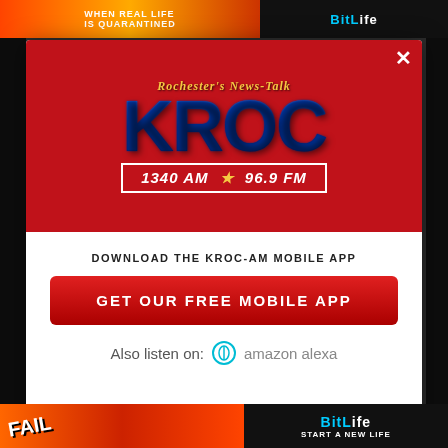[Figure (screenshot): Screenshot of a website with a modal popup for KROC radio station app download. The modal shows the KROC logo (Rochester's News-Talk, 1340 AM, 96.9 FM), a 'Download the KROC-AM Mobile App' prompt, a red 'GET OUR FREE MOBILE APP' button, and 'Also listen on: amazon alexa'. Background shows a darkened website with ad banners.]